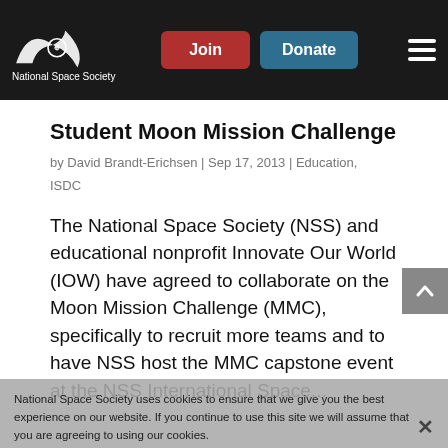National Space Society – Join | Donate
Student Moon Mission Challenge
by David Brandt-Erichsen | Sep 17, 2013 | Education, ISDC
The National Space Society (NSS) and educational nonprofit Innovate Our World (IOW) have agreed to collaborate on the Moon Mission Challenge (MMC), specifically to recruit more teams and to have NSS host the MMC capstone event at the NSS International Space...
National Space Society uses cookies to ensure that we give you the best experience on our website. If you continue to use this site we will assume that you are agreeing to using our cookies. Privacy policy.